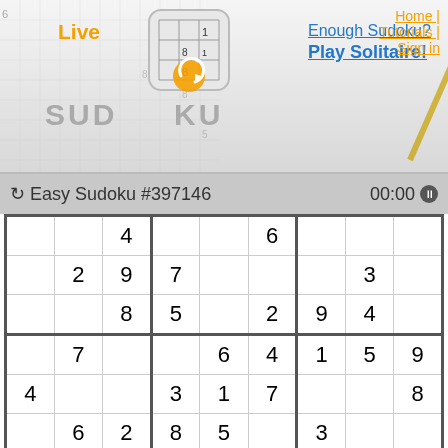[Figure (screenshot): Live Sudoku website header with logo, navigation links (Home, Tutorials, Sign in), and promotional links (Enough Sudoku? Play Solitaire!)]
Easy Sudoku #397146   00:00
|  |  | 4 |  |  | 6 |  |  |  |
|  | 2 | 9 | 7 |  |  |  | 3 |  |
|  |  | 8 | 5 |  | 2 | 9 | 4 |  |
|  | 7 |  |  | 6 | 4 | 1 | 5 | 9 |
| 4 |  |  | 3 | 1 | 7 |  |  | 8 |
|  | 6 | 2 | 8 | 5 |  | 3 |  |  |
|  |  |  |  |  |  |  | 1 |  |
|  |  |  |  |  |  |  |  |  |